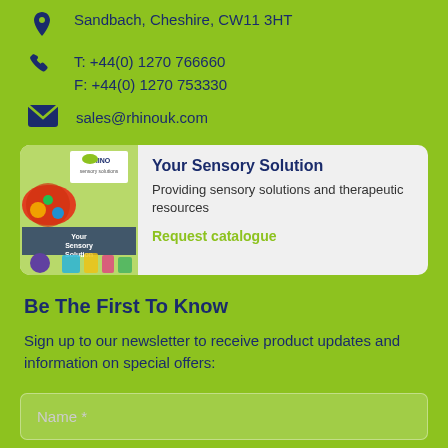Sandbach, Cheshire, CW11 3HT
T: +44(0) 1270 766660
F: +44(0) 1270 753330
sales@rhinouk.com
[Figure (infographic): Your Sensory Solution catalogue card with image on the left showing children with sensory toys, Rhino logo, text 'Your Sensory Solution', description 'Providing sensory solutions and therapeutic resources', and a green 'Request catalogue' link.]
Be The First To Know
Sign up to our newsletter to receive product updates and information on special offers:
Name *